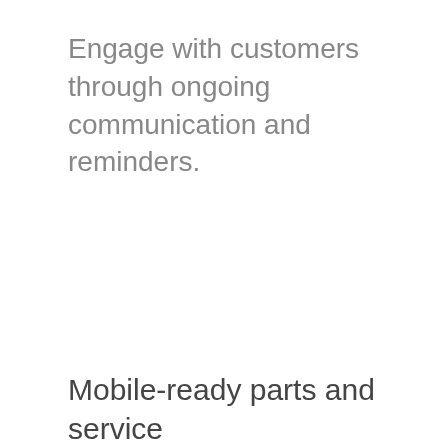Engage with customers through ongoing communication and reminders.
Mobile-ready parts and service